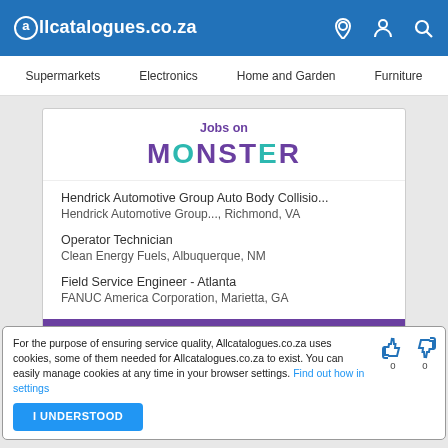Allcatalogues.co.za
Supermarkets  Electronics  Home and Garden  Furniture
[Figure (screenshot): Jobs on Monster advertisement card with job listings]
Hendrick Automotive Group Auto Body Collisio...
Hendrick Automotive Group..., Richmond, VA
Operator Technician
Clean Energy Fuels, Albuquerque, NM
Field Service Engineer - Atlanta
FANUC America Corporation, Marietta, GA
View More Jobs
For the purpose of ensuring service quality, Allcatalogues.co.za uses cookies, some of them needed for Allcatalogues.co.za to exist. You can easily manage cookies at any time in your browser settings. Find out how in settings
I UNDERSTOOD